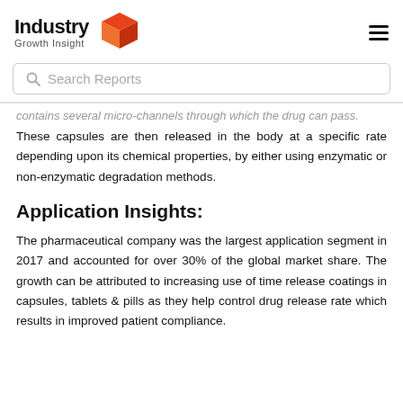[Figure (logo): Industry Growth Insight logo with red 3D box icon and bold text]
Search Reports
contains several micro-channels through which the drug can pass.
These capsules are then released in the body at a specific rate depending upon its chemical properties, by either using enzymatic or non-enzymatic degradation methods.
Application Insights:
The pharmaceutical company was the largest application segment in 2017 and accounted for over 30% of the global market share. The growth can be attributed to increasing use of time release coatings in capsules, tablets & pills as they help control drug release rate which results in improved patient compliance.